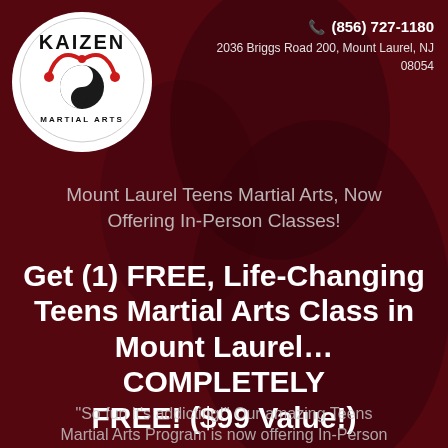[Figure (logo): Kaizen Martial Arts logo — circular white logo with 'KAIZEN' text at top, yin-yang symbol and red arched figure graphic in center, 'MARTIAL ARTS' text at bottom]
(856) 727-1180
2036 Briggs Road 200, Mount Laurel, NJ 08054
Mount Laurel Teens Martial Arts, Now Offering In-Person Classes!
Get (1) FREE, Life-Changing Teens Martial Arts Class in Mount Laurel… COMPLETELY FREE! ($99 Value!)
"So fun it's addicting!" Our amazing Teens Martial Arts Program is now offering In-Person